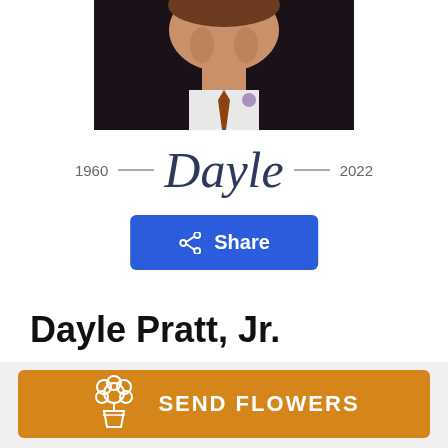[Figure (photo): Partial portrait photo of Dayle Pratt Jr. showing face and upper body in a suit with tie, photo cropped at top]
1960 — Dayle — 2022
Share
Dayle Pratt, Jr.
February 14, 1960 — May 30, 2022
SEND FLOWERS